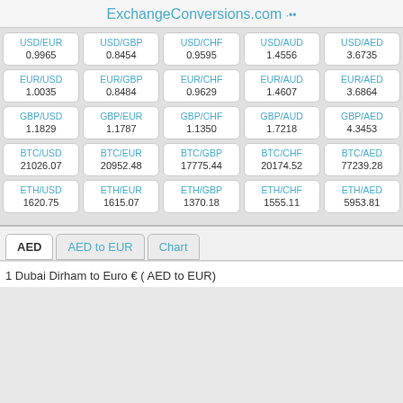ExchangeConversions.com
| USD/EUR | USD/GBP | USD/CHF | USD/AUD | USD/AED | EUR/USD | EUR/GBP | EUR/CHF | EUR/AUD | EUR/AED | GBP/USD | GBP/EUR | GBP/CHF | GBP/AUD | GBP/AED | BTC/USD | BTC/EUR | BTC/GBP | BTC/CHF | BTC/AED | ETH/USD | ETH/EUR | ETH/GBP | ETH/CHF | ETH/AED |
| --- | --- | --- | --- | --- | --- | --- | --- | --- | --- | --- | --- | --- | --- | --- | --- | --- | --- | --- | --- | --- | --- | --- | --- | --- |
| 0.9965 | 0.8454 | 0.9595 | 1.4556 | 3.6735 |
| 1.0035 | 0.8484 | 0.9629 | 1.4607 | 3.6864 |
| 1.1829 | 1.1787 | 1.1350 | 1.7218 | 4.3453 |
| 21026.07 | 20952.48 | 17775.44 | 20174.52 | 77239.28 |
| 1620.75 | 1615.07 | 1370.18 | 1555.11 | 5953.81 |
AED   AED to EUR   Chart
1 Dubai Dirham to Euro € ( AED to EUR)